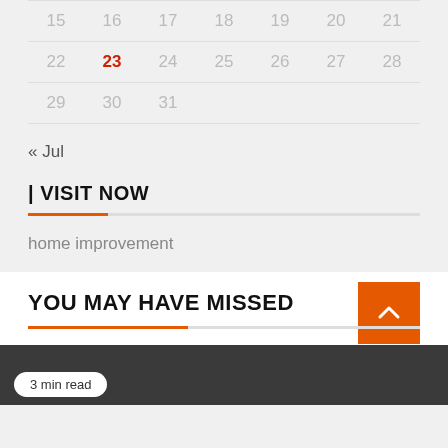| 15 | 16 | 17 | 18 | 19 | 20 | 21 |
| 22 | 23 | 24 | 25 | 26 | 27 | 28 |
| 29 | 30 | 31 |  |  |  |  |
« Jul
| VISIT NOW
home improvement
YOU MAY HAVE MISSED
[Figure (other): Dark image bar with '3 min read' badge]